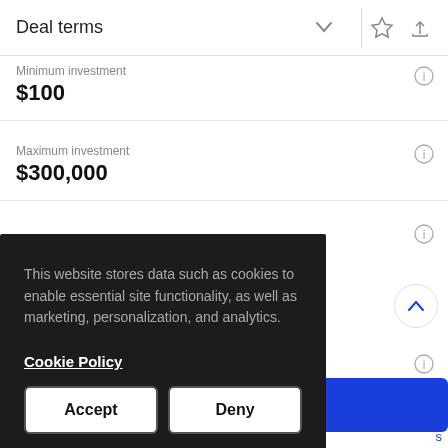Deal terms
Minimum investment
$100
Maximum investment
$300,000
This website stores data such as cookies to enable essential site functionality, as well as marketing, personalization, and analytics.

Cookie Policy

Accept   Deny